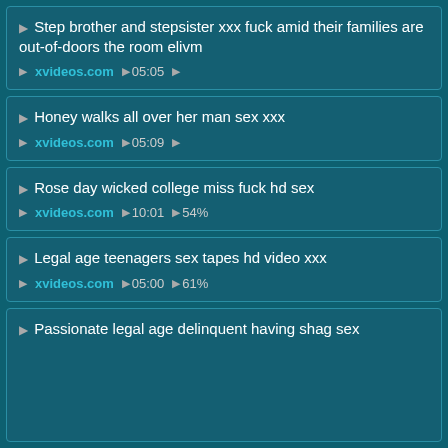Step brother and stepsister xxx fuck amid their families are out-of-doors the room elivm | xvideos.com | 05:05
Honey walks all over her man sex xxx | xvideos.com | 05:09
Rose day wicked college miss fuck hd sex | xvideos.com | 10:01 | 54%
Legal age teenagers sex tapes hd video xxx | xvideos.com | 05:00 | 61%
Passionate legal age delinquent having shag sex